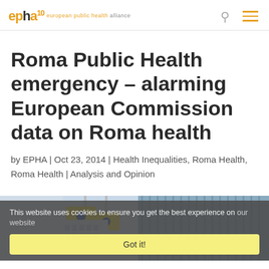EPHA european public health alliance
Roma Public Health emergency – alarming European Commission data on Roma health
by EPHA | Oct 23, 2014 | Health Inequalities, Roma Health, Roma Health | Analysis and Opinion
[Figure (photo): Photograph of European Commission building with EU flags visible against a glass skyscraper facade]
This website uses cookies to ensure you get the best experience on our website
Got it!